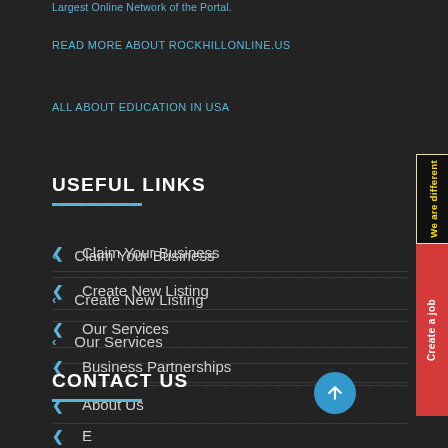Largest Online Network of the Portal.
READ MORE ABOUT ROCKHILLONLINE.US
ALL ABOUT EDUCATION IN USA
USEFUL LINKS
Claim Your Business
Create New Listing
Our Services
Business Partnerships
About Us
CONTACT US
[Figure (other): Side banner with 'We are different' in yellow text on dark background, and 'Create a job' in white text on red background]
[Figure (other): Blue circular scroll-to-top button with upward arrow]